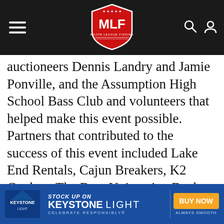[Figure (screenshot): MLF (Major League Fishing) website navigation bar with hamburger menu on left, MLF red shield logo in center, search and user icons on right, dark background]
auctioneers Dennis Landry and Jamie Ponville, and the Assumption High School Bass Club and volunteers that helped make this event possible. Partners that contributed to the success of this event included Lake End Rentals, Cajun Breakers, K2 Coolers, The Bass University, Buzbe, Blazer Boats, Costa, Stazione Deli Market, Dylan Delcambre, Paizano’s, Spunkey Monkey, Suzie Sheets/ Simply Susan, Howard Hartley, Chris Lane, Tyler Rivet, Duck Commander, Teddy Mobile, Pipe and Steel Industrial, Erin Hebert
We use Cookies to improve your browsing experience and help us improve our website. Our Privacy Policy and Terms of Service have changed. Click OK to agree.
[Figure (infographic): Keystone Light advertisement banner: blue background with 'STOCK UP ON KEYSTONE LIGHT' text, BUY NOW button, ALWAYS SMOOTH tagline, and Keystone product image on left]